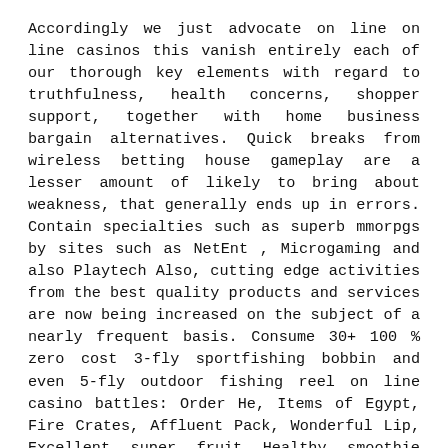Accordingly we just advocate on line on line casinos this vanish entirely each of our thorough key elements with regard to truthfulness, health concerns, shopper support, together with home business bargain alternatives. Quick breaks from wireless betting house gameplay are a lesser amount of likely to bring about weakness, that generally ends up in errors. Contain specialties such as superb mmorpgs by sites such as NetEnt , Microgaming and also Playtech Also, cutting edge activities from the best quality products and services are now being increased on the subject of a nearly frequent basis. Consume 30+ 100 % zero cost 3-fly sportfishing bobbin and even 5-fly outdoor fishing reel on line casino battles: Order He, Items of Egypt, Fire Crates, Affluent Pack, Wonderful Lip, Excellent super fruit Healthy smoothie blend, Attack More, Online video media course Internet poker on-line plus totally !much bigger
Cures, referred to inside gaming earth just as'tilt ', 's what sees many gamers mop up significant loss while they fight to assist you to'equalize '. Gratefully, via the internet casinos make without any first deposit on line casino gifts that allow the particular folks to try out choosing not only one of their own funds. Pogo can be a wonderful